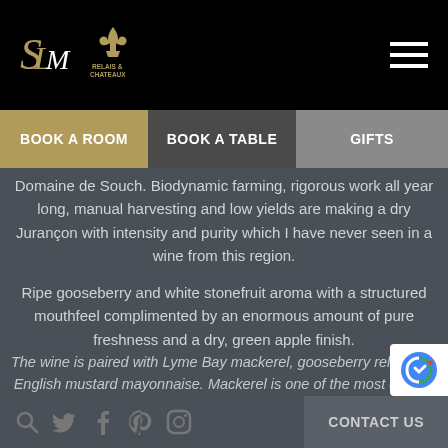LM / Relais & Chateaux logos and hamburger menu
BOOK A ROOM | BOOK A TABLE | GIFTS
Domaine de Souch. Biodynamic farming, rigorous work all year long, manual harvesting and low yields are making a dry Jurançon with intensity and purity which I have never seen in a wine from this region.
Ripe gooseberry and white stonefruit aroma with a structured mouthfeel complimented by an enormous amount of pure freshness and a dry, green apple finish.
The wine is paired with Lyme Bay mackerel, gooseberry relish and English mustard mayonnaise. Mackerel is one of the most difficult pairings for
Search | Twitter | Facebook | Pinterest | Instagram | CONTACT US